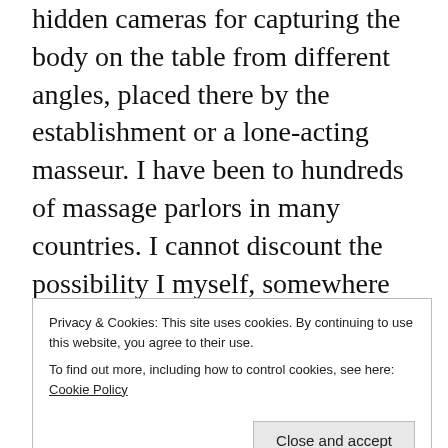hidden cameras for capturing the body on the table from different angles, placed there by the establishment or a lone-acting masseur. I have been to hundreds of massage parlors in many countries. I cannot discount the possibility I myself, somewhere down the line, have been secretly filmed. I doubt it, not being young and female and your typical spycam material. Yet doubt increasingly eats away at my sense of security in light of the
Privacy & Cookies: This site uses cookies. By continuing to use this website, you agree to their use.
To find out more, including how to control cookies, see here: Cookie Policy
now on massage tables not just in Japan but in